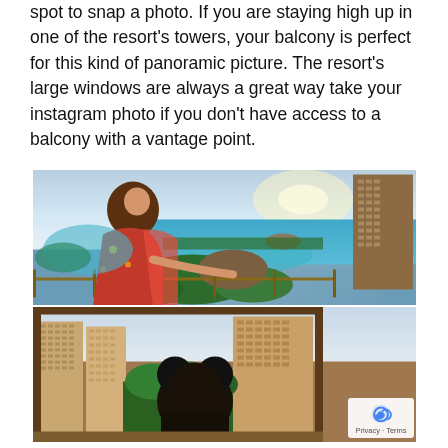spot to snap a photo. If you are staying high up in one of the resort's towers, your balcony is perfect for this kind of panoramic picture. The resort's large windows are always a great way take your instagram photo if you don't have access to a balcony with a vantage point.
[Figure (photo): Two stacked photos: top photo shows a woman in a floral dress standing on a resort balcony overlooking a tropical bay with turquoise water, beach, palm trees, and a tall hotel tower on the right. Bottom photo shows a person wearing Mickey Mouse ears looking out from a high-rise balcony at the resort's towers and tropical gardens below.]